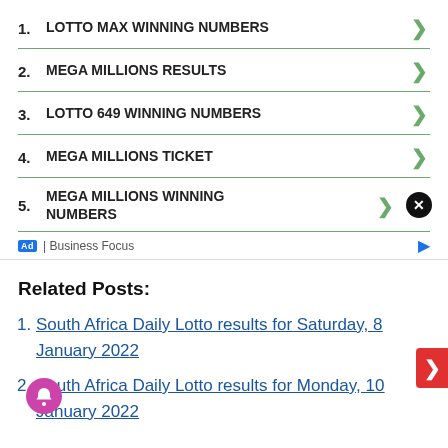1. LOTTO MAX WINNING NUMBERS
2. MEGA MILLIONS RESULTS
3. LOTTO 649 WINNING NUMBERS
4. MEGA MILLIONS TICKET
5. MEGA MILLIONS WINNING NUMBERS
Ad | Business Focus
Related Posts:
South Africa Daily Lotto results for Saturday, 8 January 2022
South Africa Daily Lotto results for Monday, 10 January 2022